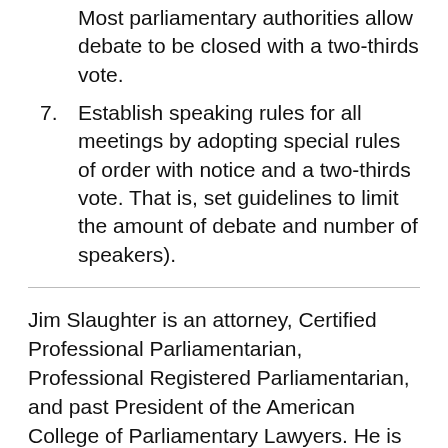Most parliamentary authorities allow debate to be closed with a two-thirds vote.
7. Establish speaking rules for all meetings by adopting special rules of order with notice and a two-thirds vote. That is, set guidelines to limit the amount of debate and number of speakers).
Jim Slaughter is an attorney, Certified Professional Parliamentarian, Professional Registered Parliamentarian, and past President of the American College of Parliamentary Lawyers. He is author of The Complete Idiot's Guide t…